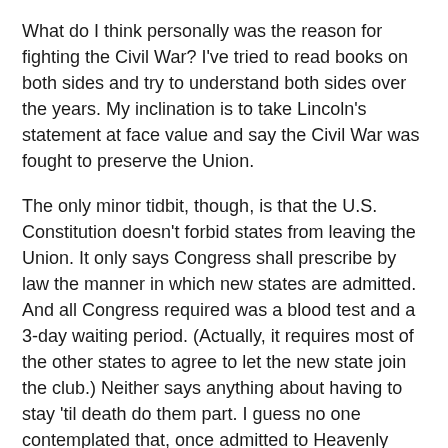What do I think personally was the reason for fighting the Civil War? I've tried to read books on both sides and try to understand both sides over the years. My inclination is to take Lincoln's statement at face value and say the Civil War was fought to preserve the Union.
The only minor tidbit, though, is that the U.S. Constitution doesn't forbid states from leaving the Union. It only says Congress shall prescribe by law the manner in which new states are admitted. And all Congress required was a blood test and a 3-day waiting period. (Actually, it requires most of the other states to agree to let the new state join the club.) Neither says anything about having to stay 'til death do them part. I guess no one contemplated that, once admitted to Heavenly Union, no state would ever contemplate giving up such divine bliss.
Legally, then, the South was right.
Moral? I suppose it would be that "being legally right" doesn't always mean you get to do it unmolested. The North had